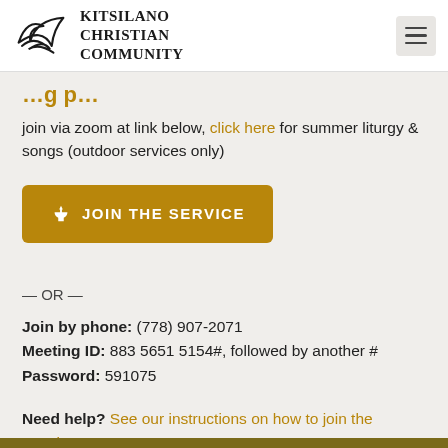Kitsilano Christian Community
…g p…
join via zoom at link below, click here for summer liturgy & songs (outdoor services only)
[Figure (other): Golden button with church icon: JOIN THE SERVICE]
— OR —
Join by phone: (778) 907-2071
Meeting ID: 883 5651 5154#, followed by another #
Password: 591075
Need help? See our instructions on how to join the meeting.